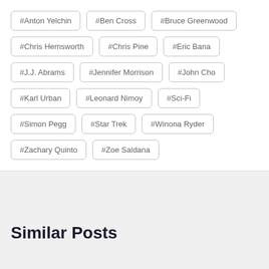#Anton Yelchin
#Ben Cross
#Bruce Greenwood
#Chris Hemsworth
#Chris Pine
#Eric Bana
#J.J. Abrams
#Jennifer Morrison
#John Cho
#Karl Urban
#Leonard Nimoy
#Sci-Fi
#Simon Pegg
#Star Trek
#Winona Ryder
#Zachary Quinto
#Zoe Saldana
Similar Posts